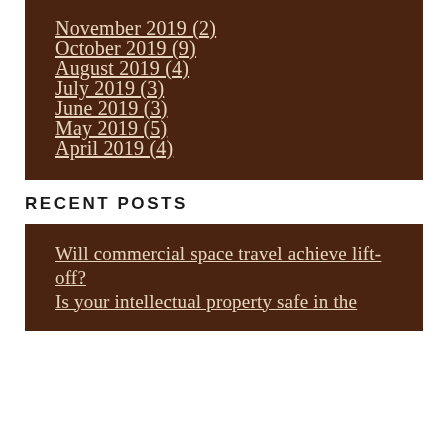November 2019 (2)
October 2019 (9)
August 2019 (4)
July 2019 (3)
June 2019 (3)
May 2019 (5)
April 2019 (4)
RECENT POSTS
Will commercial space travel achieve lift-off?
Is your intellectual property safe in the